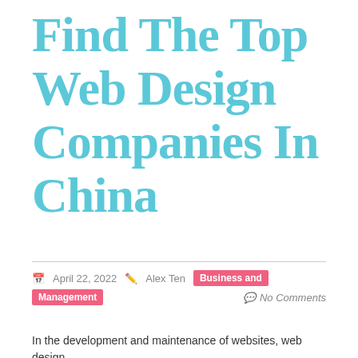Find The Top Web Design Companies In China
April 22, 2022  Alex Ten  Business and Management  No Comments
In the development and maintenance of websites, web design